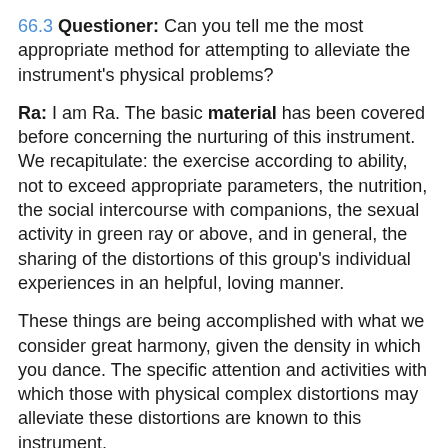66.3 Questioner: Can you tell me the most appropriate method for attempting to alleviate the instrument's physical problems?
Ra: I am Ra. The basic material has been covered before concerning the nurturing of this instrument. We recapitulate: the exercise according to ability, not to exceed appropriate parameters, the nutrition, the social intercourse with companions, the sexual activity in green ray or above, and in general, the sharing of the distortions of this group's individual experiences in an helpful, loving manner.
These things are being accomplished with what we consider great harmony, given the density in which you dance. The specific attention and activities with which those with physical complex distortions may alleviate these distortions are known to this instrument.
Finally, it is well for this instrument to continue the...